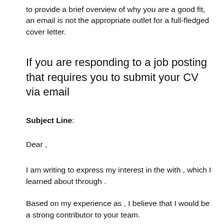to provide a brief overview of why you are a good fit, an email is not the appropriate outlet for a full-fledged cover letter.
If you are responding to a job posting that requires you to submit your CV via email
Subject Line:
Dear ,
I am writing to express my interest in the with , which I learned about through .
Based on my experience as , I believe that I would be a strong contributor to your team.